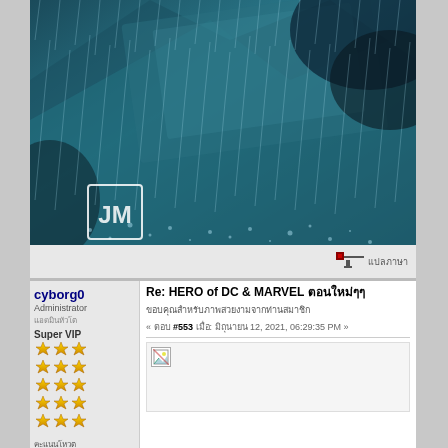[Figure (photo): Dark teal/cyan rainy scene, possibly a superhero or metallic surface being rained on, with a watermark logo 'JM' in bottom left of image]
แปลภาษา
cyborg0
Administrator
แอดมินหัวโต
Super VIP
Re: HERO of DC & MARVEL ตอนใหม่ๆๆ
ขอบคุณสำหรับภาพสวยงามจากท่านสมาชิก
« ตอบ #553 เมื่อ: มิถุนายน 12, 2021, 06:29:35 PM »
คะแนนโหวต
+0/-1
กระทู้: 21875